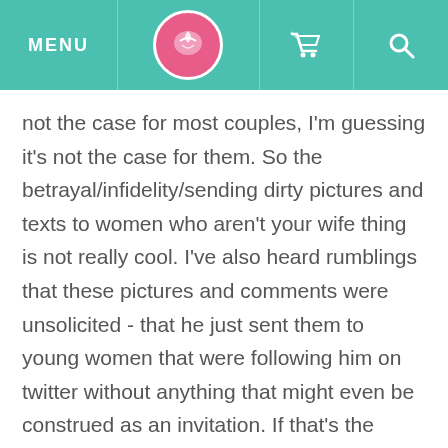MENU [logo] [cart] [search]
not the case for most couples, I'm guessing it's not the case for them. So the betrayal/infidelity/sending dirty pictures and texts to women who aren't your wife thing is not really cool. I've also heard rumblings that these pictures and comments were unsolicited - that he just sent them to young women that were following him on twitter without anything that might even be construed as an invitation. If that's the case, that's not cool either and he kind of deserves to be outed